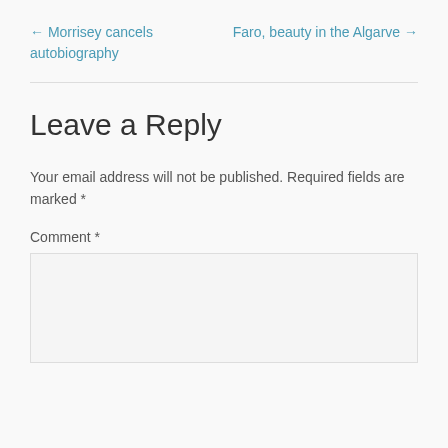← Morrisey cancels autobiography
Faro, beauty in the Algarve →
Leave a Reply
Your email address will not be published. Required fields are marked *
Comment *